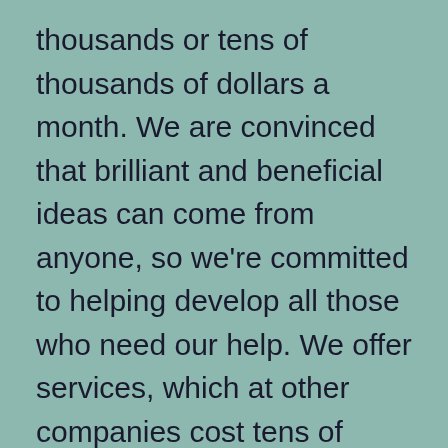thousands or tens of thousands of dollars a month. We are convinced that brilliant and beneficial ideas can come from anyone, so we're committed to helping develop all those who need our help. We offer services, which at other companies cost tens of thousands of dollars at prices so small that it seems a joke. No, it's not a joke. Now enjoy a huge network and our experience so that we can reach the heights of success .Your success will be full satisfaction for us . Now , you are the master of your destiny . The best way to promote your business, web site, products , videos, music songs , books, articles, magazines, any skills